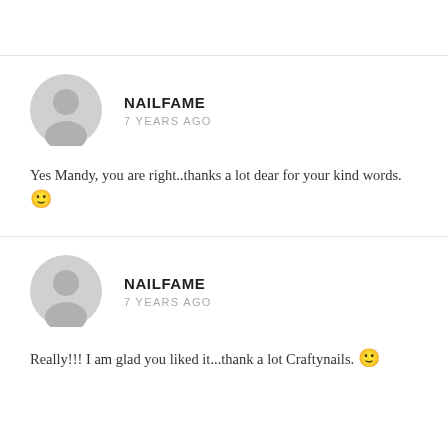NAILFAME
7 YEARS AGO
Yes Mandy, you are right..thanks a lot dear for your kind words. 🙂
NAILFAME
7 YEARS AGO
Really!!! I am glad you liked it...thank a lot Craftynails. 🙂